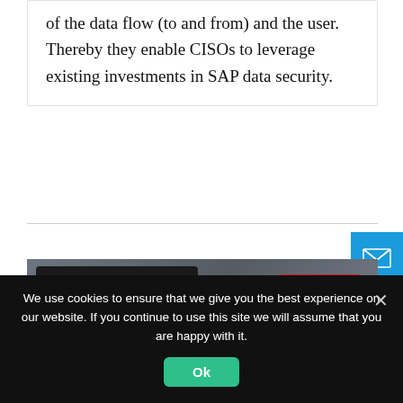of the data flow (to and from) and the user. Thereby they enable CISOs to leverage existing investments in SAP data security.
[Figure (screenshot): Screenshot of a tablet device showing a webpage or application interface with blue, white, and orange content blocks, alongside a red striped logo/graphic in the upper right area.]
We use cookies to ensure that we give you the best experience on our website. If you continue to use this site we will assume that you are happy with it.